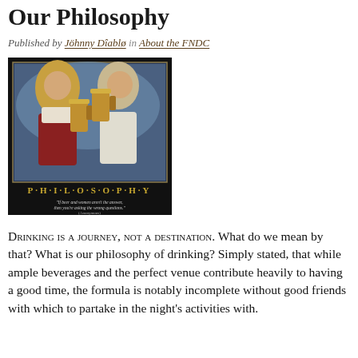Our Philosophy
Published by Jöhnny Dîablø in About the FNDC
[Figure (photo): Motivational poster-style photo of two women in Bavarian dirndl outfits holding large beer steins, with the caption 'P·H·I·L·O·S·O·P·H·Y' and a quote: 'If beer and women aren't the answer, then you're asking the wrong questions.' (Anonymous)]
Drinking is a journey, not a destination. What do we mean by that? What is our philosophy of drinking? Simply stated, that while ample beverages and the perfect venue contribute heavily to having a good time, the formula is notably incomplete without good friends with which to partake in the night's activities with.